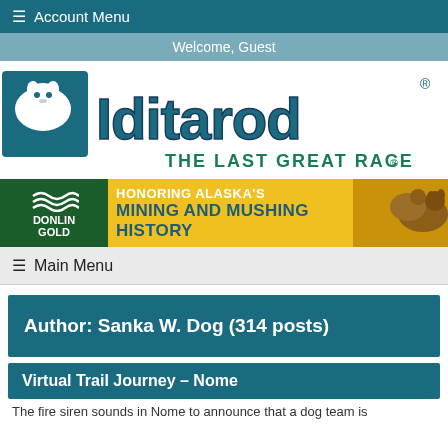≡ Account Menu
Welcome, Guest
[Figure (logo): Iditarod THE LAST GREAT RACE® logo with husky dog icon]
[Figure (infographic): Donlin Gold banner: HONORING ALASKA'S MINING AND MUSHING HISTORY, with dog team photo on right]
≡ Main Menu
Author: Sanka W. Dog (314 posts)
Virtual Trail Journey – Nome
The fire siren sounds in Nome to announce that a dog team is